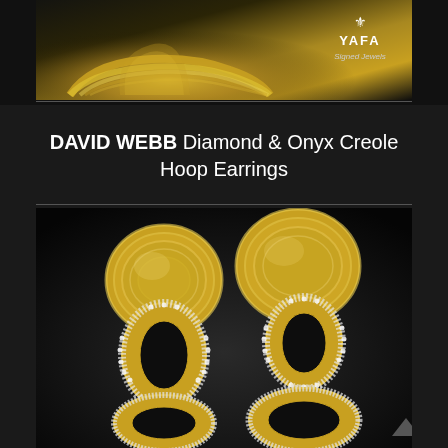[Figure (photo): Top portion of gold jewelry piece (bracelet or brooch) against dark background, with YAFA Signed Jewels logo in upper right]
DAVID WEBB Diamond & Onyx Creole Hoop Earrings
[Figure (photo): David Webb Diamond & Onyx Creole Hoop Earrings - two gold hoop earrings with diamond and onyx accents, shown against dark background]